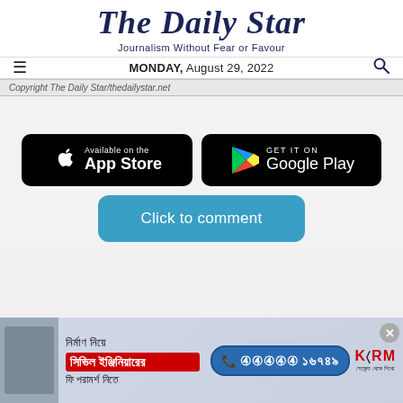The Daily Star
Journalism Without Fear or Favour
MONDAY, August 29, 2022
Copyright The Daily Star/thedailystar.net
[Figure (logo): App Store download button - black rounded rectangle with Apple logo and text 'Available on the App Store']
[Figure (logo): Google Play download button - black rounded rectangle with colorful Play Store triangle icon and text 'GET IT ON Google Play']
[Figure (other): Blue rounded button with text 'Click to comment']
[Figure (photo): Advertisement banner in Bengali for KSRM civil engineer consultation service with phone number 16749]